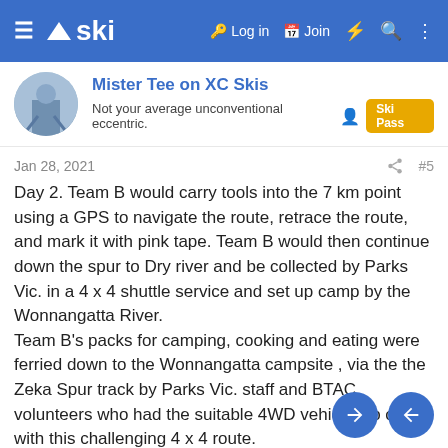≡ ski | Log in | Join | # | Search | :
Mister Tee on XC Skis
Not your average unconventional eccentric. Ski Pass
Jan 28, 2021 #5
Day 2. Team B would carry tools into the 7 km point using a GPS to navigate the route, retrace the route, and mark it with pink tape. Team B would then continue down the spur to Dry river and be collected by Parks Vic. in a 4 x 4 shuttle service and set up camp by the Wonnangatta River.
Team B's packs for camping, cooking and eating were ferried down to the Wonnangatta campsite , via the the Zeka Spur track by Parks Vic. staff and BTAC volunteers who had the suitable 4WD vehicles to cope with this challenging 4 x 4 route.
UHF radios were essential for all communications out there. Channel 14 !
Team A would cut and tag the route Team B selected from 0-